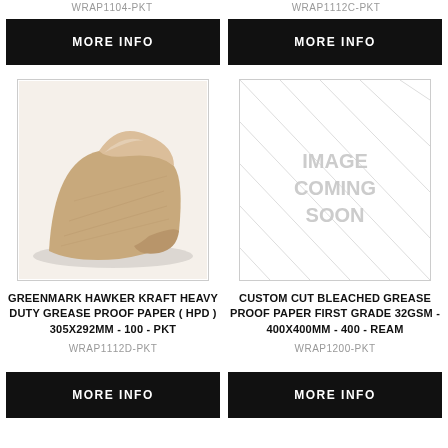WRAP1104-PKT
WRAP1112C-PKT
MORE INFO
MORE INFO
[Figure (photo): Photo of brown kraft heavy duty grease proof paper sheet, folded/rolled, on white background]
[Figure (other): Placeholder image with text IMAGE COMING SOON and diagonal lines]
GREENMARK HAWKER KRAFT HEAVY DUTY GREASE PROOF PAPER ( HPD ) 305X292MM - 100 - PKT
CUSTOM CUT BLEACHED GREASE PROOF PAPER FIRST GRADE 32GSM - 400X400MM - 400 - REAM
WRAP1112D-PKT
WRAP1200-PKT
MORE INFO
MORE INFO